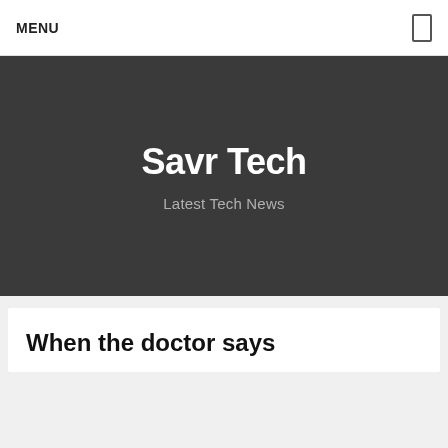MENU
Savr Tech
Latest Tech News
When the doctor says